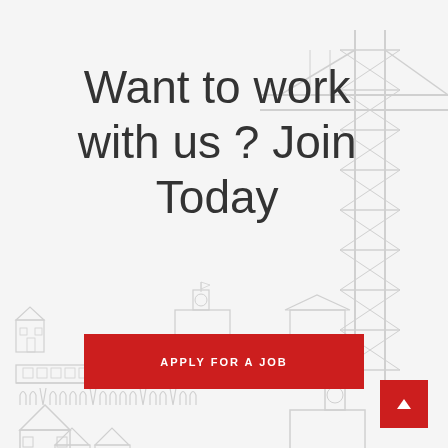[Figure (illustration): Background line drawing of industrial/construction buildings with a crane tower on the right side, rendered in light gray strokes on a light gray background]
Want to work with us ? Join Today
APPLY FOR A JOB
[Figure (other): Red square button with white upward-pointing arrow (back to top button) in bottom right corner]